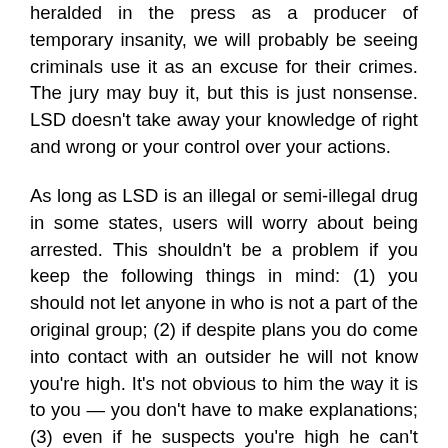heralded in the press as a producer of temporary insanity, we will probably be seeing criminals use it as an excuse for their crimes. The jury may buy it, but this is just nonsense. LSD doesn't take away your knowledge of right and wrong or your control over your actions.
As long as LSD is an illegal or semi-illegal drug in some states, users will worry about being arrested. This shouldn't be a problem if you keep the following things in mind: (1) you should not let anyone in who is not a part of the original group; (2) if despite plans you do come into contact with an outsider he will not know you're high. It's not obvious to him the way it is to you — you don't have to make explanations; (3) even if he suspects you're high he can't prove it; (4) simply being high is not grounds for arrest. If it will make you feel safer, make sure there are no drugs in the house.
A fifth thing people worry about in sessions is whether their companions are playing some sort of trick on them. These are